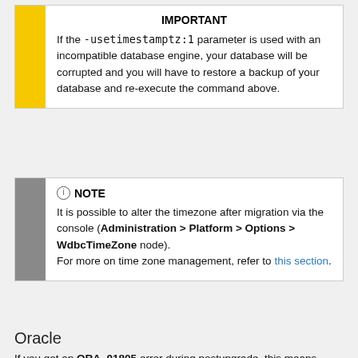IMPORTANT
If the -usetimestamptz:1 parameter is used with an incompatible database engine, your database will be corrupted and you will have to restore a backup of your database and re-execute the command above.
NOTE
It is possible to alter the timezone after migration via the console (Administration > Platform > Options > WdbcTimeZone node).
For more on time zone management, refer to this section.
Oracle
If you get an ORA_01805 error during postupgrade, this means